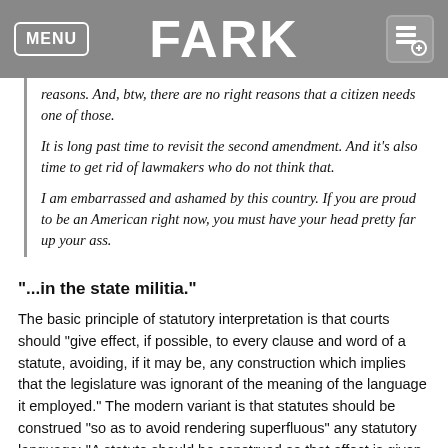FARK
reasons.  And, btw, there are no right reasons that a citizen needs one of those.

It is long past time to revisit the second amendment.  And it's also time to get rid of lawmakers who do not think that.

I am embarrassed and ashamed by this country.  If you are proud to be an American right now, you must have your head pretty far up your ass.
"...in the state militia."
The basic principle of statutory interpretation is that courts should "give effect, if possible, to every clause and word of a statute, avoiding, if it may be, any construction which implies that the legislature was ignorant of the meaning of the language it employed." The modern variant is that statutes should be construed "so as to avoid rendering superfluous" any statutory language: "A statute should be construed so that effect is given